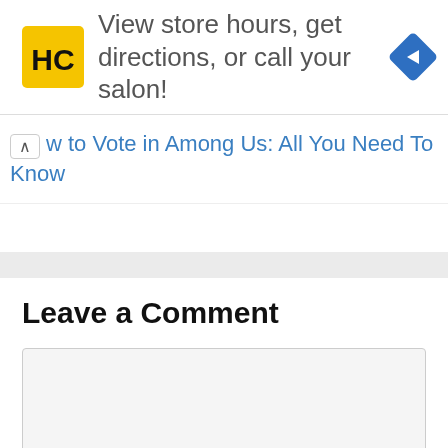[Figure (infographic): Advertisement banner with HC logo (yellow square with black HC letters), text 'View store hours, get directions, or call your salon!', and a blue diamond-shaped navigation arrow icon on the right.]
w to Vote in Among Us: All You Need To Know
Leave a Comment